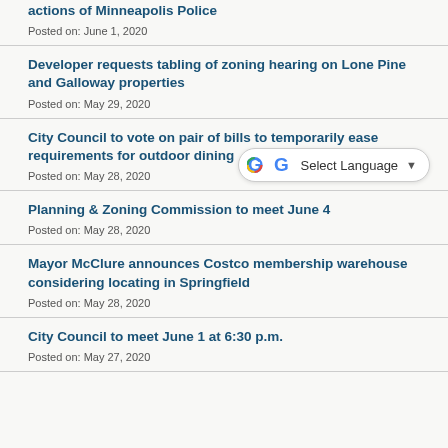actions of Minneapolis Police
Posted on: June 1, 2020
Developer requests tabling of zoning hearing on Lone Pine and Galloway properties
Posted on: May 29, 2020
City Council to vote on pair of bills to temporarily ease requirements for outdoor dining
Posted on: May 28, 2020
Planning & Zoning Commission to meet June 4
Posted on: May 28, 2020
Mayor McClure announces Costco membership warehouse considering locating in Springfield
Posted on: May 28, 2020
City Council to meet June 1 at 6:30 p.m.
Posted on: May 27, 2020